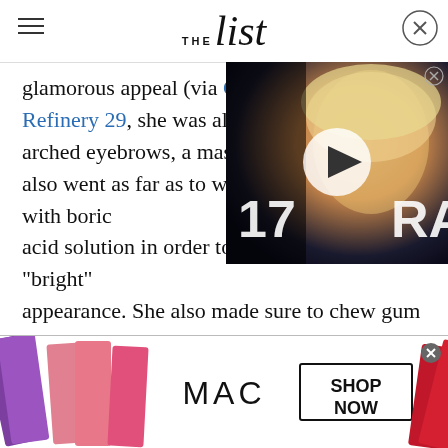THE list
glamorous appeal (via CR Fas[hion Book and] Refinery 29, she was also a fa[n of heavily] arched eyebrows, a massive [hair style. She] also went as far as to wash her eyes daily with boric acid solution in order to give herself a "bright" appearance. She also made sure to chew gum on a regular basis, as she believed that it gave her jawline a tighter, more refined look.
[Figure (photo): Video thumbnail showing a blonde woman at an event, with a play button overlay. Text overlay shows '17' and 'RA'.]
[Figure (photo): MAC cosmetics advertisement showing lipsticks in purple, pink, and red colors with MAC logo and SHOP NOW button.]